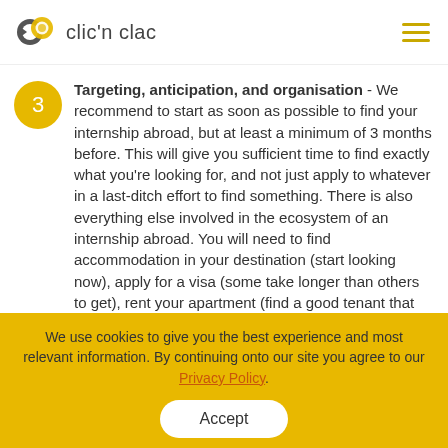clic'n clac
Targeting, anticipation, and organisation - We recommend to start as soon as possible to find your internship abroad, but at least a minimum of 3 months before. This will give you sufficient time to find exactly what you're looking for, and not just apply to whatever in a last-ditch effort to find something. There is also everything else involved in the ecosystem of an internship abroad. You will need to find accommodation in your destination (start looking now), apply for a visa (some take longer than others to get), rent your apartment (find a good tenant that doesn't destroy your place), international insurance
We use cookies to give you the best experience and most relevant information. By continuing onto our site you agree to our Privacy Policy.